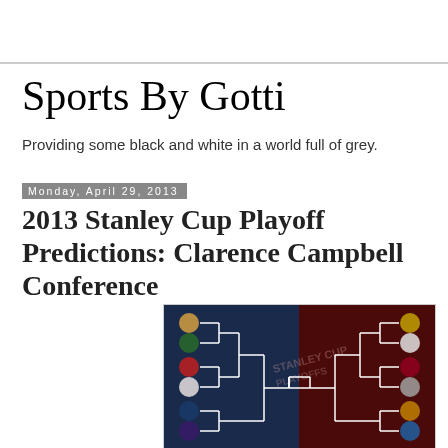Sports By Gotti
Providing some black and white in a world full of grey.
Monday, April 29, 2013
2013 Stanley Cup Playoff Predictions: Clarence Campbell Conference
[Figure (other): NHL Stanley Cup Playoffs bracket showing team logos on a blue (Western Conference) and red (Eastern Conference) background with bracket lines connecting teams]